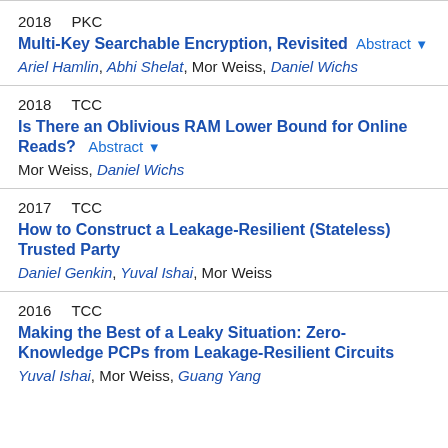2018 PKC
Multi-Key Searchable Encryption, Revisited Abstract ▼
Ariel Hamlin, Abhi Shelat, Mor Weiss, Daniel Wichs
2018 TCC
Is There an Oblivious RAM Lower Bound for Online Reads? Abstract ▼
Mor Weiss, Daniel Wichs
2017 TCC
How to Construct a Leakage-Resilient (Stateless) Trusted Party
Daniel Genkin, Yuval Ishai, Mor Weiss
2016 TCC
Making the Best of a Leaky Situation: Zero-Knowledge PCPs from Leakage-Resilient Circuits
Yuval Ishai, Mor Weiss, Guang Yang